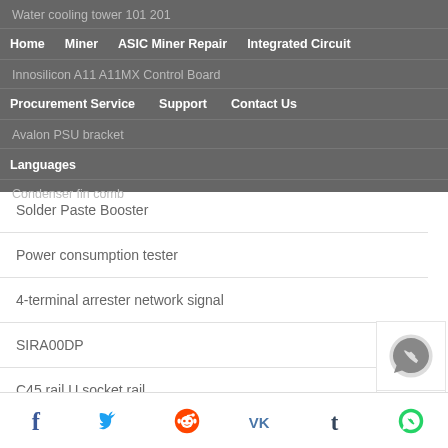Water cooling tower 101 201
Innosilicon A11 A11MX Control Board
Home   Miner   ASIC Miner Repair   Integrated Circuit
Avalon PSU bracket
Procurement Service   Support   Contact Us
Languages
Condenser fin comb
Solder Paste Booster
Power consumption tester
4-terminal arrester network signal
SIRA00DP
C45 rail U socket rail
Cable Holder Wire Organizer 100 Pieces
Social share: Facebook, Twitter, Reddit, VK, Tumblr, WhatsApp